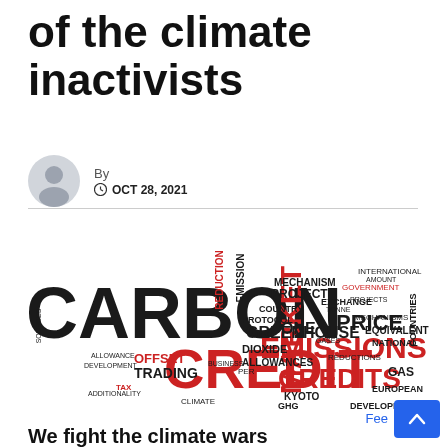of the climate inactivists
By
OCT 28, 2021
[Figure (infographic): Word cloud related to carbon credits and emissions, featuring large words: CARBON, CREDIT, EMISSIONS, CREDITS, MARKET, GREENHOUSE, PRICE, TRADING, OFFSET, ONE, DIOXIDE, ALLOWANCES, REDUCTION, EMISSION, MECHANISM, PROJECT, PROTOCOL, COUNTRY, EXCHANGE, KYOTO, GHG, DEVELOPED, EUROPEAN, GAS, EQUIVALENT, NATIONAL, and many smaller words. Large words CARBON and CREDIT in dark/red, EMISSIONS, CREDITS, MARKET in red.]
We fight the climate wars